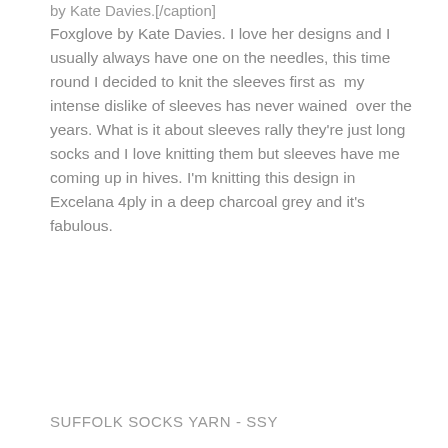by Kate Davies.[/caption]
Foxglove by Kate Davies. I love her designs and I usually always have one on the needles, this time round I decided to knit the sleeves first as  my intense dislike of sleeves has never wained  over the years. What is it about sleeves rally they're just long socks and I love knitting them but sleeves have me coming up in hives. I'm knitting this design in Excelana 4ply in a deep charcoal grey and it's fabulous.
SUFFOLK SOCKS YARN - SSY